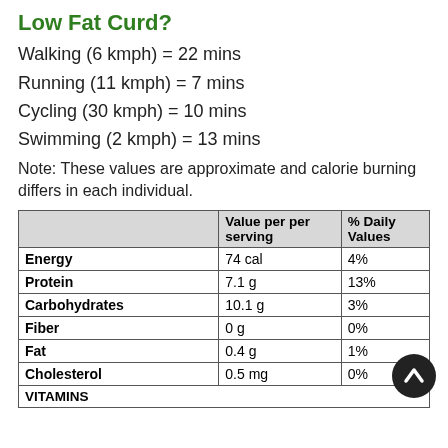Low Fat Curd?
Walking (6 kmph) = 22 mins
Running (11 kmph) = 7 mins
Cycling (30 kmph) = 10 mins
Swimming (2 kmph) = 13 mins
Note: These values are approximate and calorie burning differs in each individual.
|  | Value per per serving | % Daily Values |
| --- | --- | --- |
| Energy | 74 cal | 4% |
| Protein | 7.1 g | 13% |
| Carbohydrates | 10.1 g | 3% |
| Fiber | 0 g | 0% |
| Fat | 0.4 g | 1% |
| Cholesterol | 0.5 mg | 0% |
| VITAMINS |  |  |